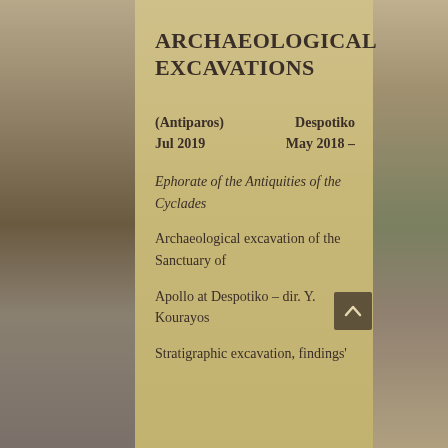ARCHAEOLOGICAL EXCAVATIONS
Despotiko (Antiparos) May 2018 – Jul 2019
Ephorate of the Antiquities of the Cyclades
Archaeological excavation of the Sanctuary of
Apollo at Despotiko – dir. Y. Kourayos
Stratigraphic excavation, findings'